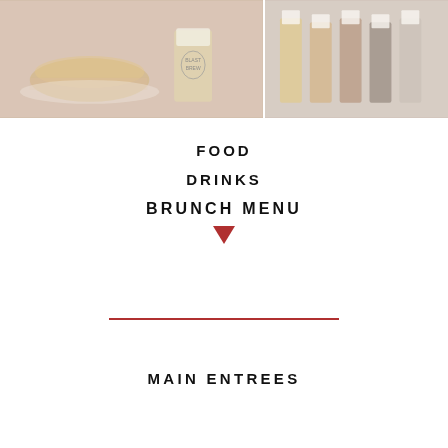[Figure (photo): Left photo showing a burger with a pint glass of beer labeled Blast Brew, on a table with brick wall background]
[Figure (photo): Right photo showing a row of beer pint glasses filled with various shades of beer]
FOOD
DRINKS
BRUNCH MENU
MAIN ENTREES